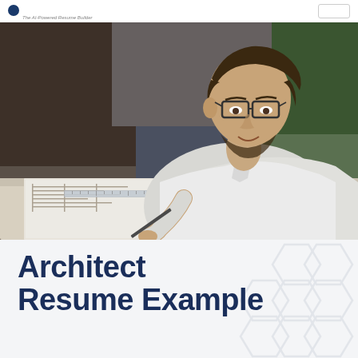The AI-Powered Resume Builder
[Figure (photo): A smiling man wearing glasses and a white shirt leaning over a drafting table working on architectural blueprints with a ruler in a professional office setting]
Architect
Resume Example